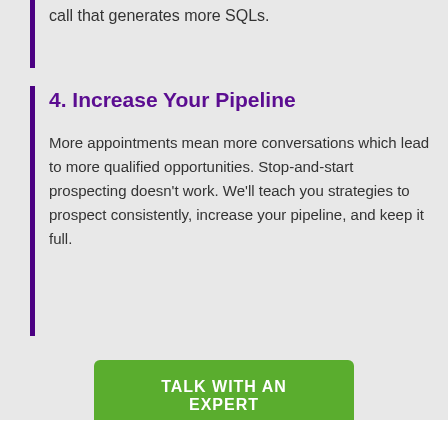call that generates more SQLs.
4. Increase Your Pipeline
More appointments mean more conversations which lead to more qualified opportunities. Stop-and-start prospecting doesn't work. We'll teach you strategies to prospect consistently, increase your pipeline, and keep it full.
TALK WITH AN EXPERT